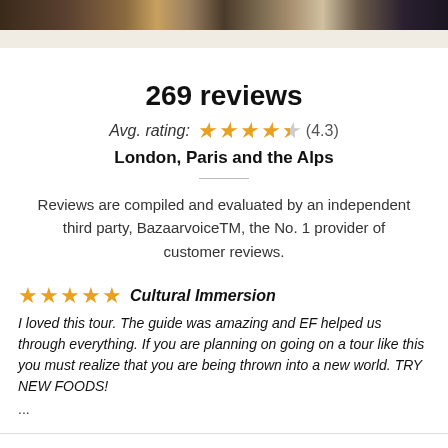[Figure (photo): Photo strip of travel images at top of page showing London/Paris/Alps scenery]
269 reviews
Avg. rating: (4.3) London, Paris and the Alps
Reviews are compiled and evaluated by an independent third party, BazaarvoiceTM, the No. 1 provider of customer reviews.
★★★★★ Cultural Immersion
I loved this tour. The guide was amazing and EF helped us through everything. If you are planning on going on a tour like this you must realize that you are being thrown into a new world. TRY NEW FOODS!
...